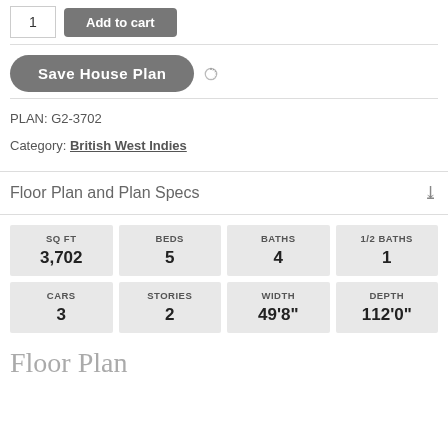1   Add to cart
[Figure (screenshot): Save House Plan button with loading spinner]
PLAN: G2-3702
Category: British West Indies
Floor Plan and Plan Specs
| SQ FT | BEDS | BATHS | 1/2 BATHS |
| --- | --- | --- | --- |
| 3,702 | 5 | 4 | 1 |
| CARS | STORIES | WIDTH | DEPTH |
| 3 | 2 | 49'8" | 112'0" |
Floor Plan